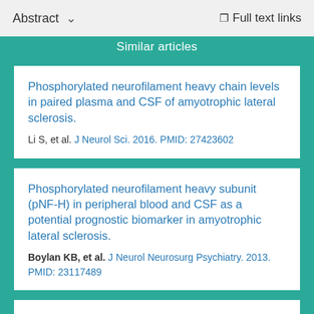Abstract   ∨   Full text links
Similar articles
Phosphorylated neurofilament heavy chain levels in paired plasma and CSF of amyotrophic lateral sclerosis.
Li S, et al. J Neurol Sci. 2016. PMID: 27423602
Phosphorylated neurofilament heavy subunit (pNF-H) in peripheral blood and CSF as a potential prognostic biomarker in amyotrophic lateral sclerosis.
Boylan KB, et al. J Neurol Neurosurg Psychiatry. 2013. PMID: 23117489
CSF neurofilament proteins as diagnostic and